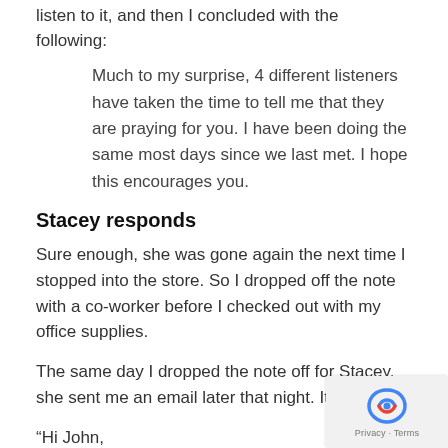listen to it, and then I concluded with the following:
Much to my surprise, 4 different listeners have taken the time to tell me that they are praying for you. I have been doing the same most days since we last met. I hope this encourages you.
Stacey responds
Sure enough, she was gone again the next time I stopped into the store. So I dropped off the note with a co-worker before I checked out with my office supplies.
The same day I dropped the note off for Stacey, she sent me an email later that night. It read:
“Hi John,
When I got to work tonight, a co-worker told me, “A